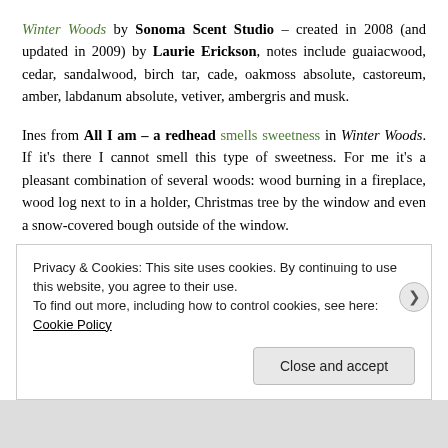Winter Woods by Sonoma Scent Studio – created in 2008 (and updated in 2009) by Laurie Erickson, notes include guaiacwood, cedar, sandalwood, birch tar, cade, oakmoss absolute, castoreum, amber, labdanum absolute, vetiver, ambergris and musk.
Ines from All I am – a redhead smells sweetness in Winter Woods. If it's there I cannot smell this type of sweetness. For me it's a pleasant combination of several woods: wood burning in a fireplace, wood log next to in a holder, Christmas tree by the window and even a snow-covered bough outside of the window.
Privacy & Cookies: This site uses cookies. By continuing to use this website, you agree to their use. To find out more, including how to control cookies, see here: Cookie Policy